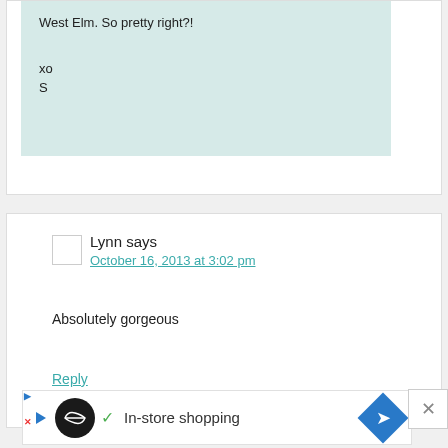West Elm. So pretty right?!

xo
S
Lynn says
October 16, 2013 at 3:02 pm
Absolutely gorgeous
Reply
[Figure (other): Advertisement banner with circular logo, checkmark, text 'In-store shopping', and blue diamond arrow icon]